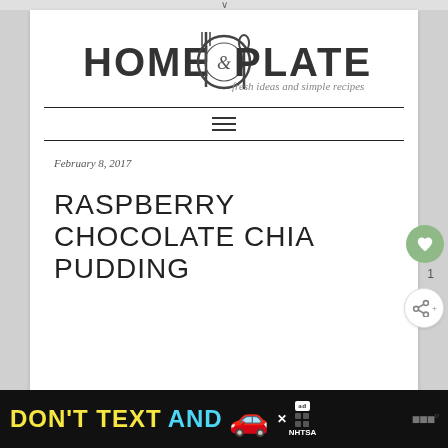[Figure (logo): Home & Plate logo with fork, plate, and spoon icon and tagline 'fresh ideas and simple recipes']
[Figure (other): Hamburger menu icon (three horizontal lines)]
February 8, 2017
RASPBERRY CHOCOLATE CHIA PUDDING
[Figure (other): Advertisement banner: DON'T TEXT AND [car emoji] with NHTSA logo]
[Figure (other): Heart/save button showing count 1 and share button]